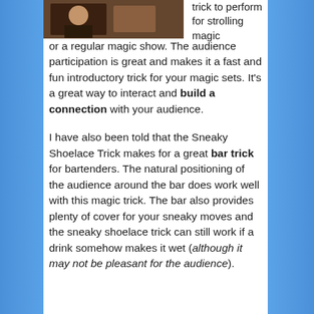[Figure (photo): Photo of a person performing a magic trick, partially visible at the top left of the content area]
trick to perform for strolling magic or a regular magic show. The audience participation is great and makes it a fast and fun introductory trick for your magic sets. It's a great way to interact and build a connection with your audience.
I have also been told that the Sneaky Shoelace Trick makes for a great bar trick for bartenders. The natural positioning of the audience around the bar does work well with this magic trick. The bar also provides plenty of cover for your sneaky moves and the sneaky shoelace trick can still work if a drink somehow makes it wet (although it may not be pleasant for the audience).